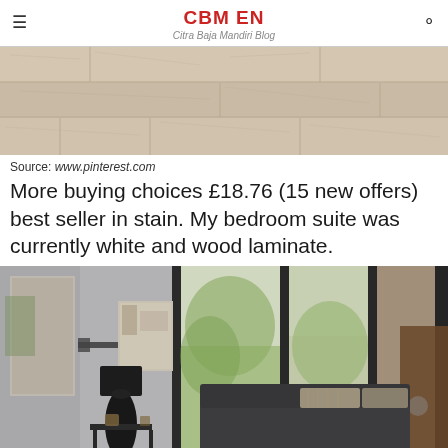CBM EN
Citra Baja Mandiri Blog
[Figure (photo): Close-up photo of light-colored wood laminate flooring planks, showing wood grain texture in beige and grey tones]
Source: www.pinterest.com
More buying choices £18.76 (15 new offers) best seller in stain. My bedroom suite was currently white and wood laminate.
[Figure (photo): Modern living room interior with grey walls, large black-framed floor-to-ceiling windows looking out to greenery, dark grey sofa with striped cushions, black table lamp on side table, and wooden accent piece on the right]